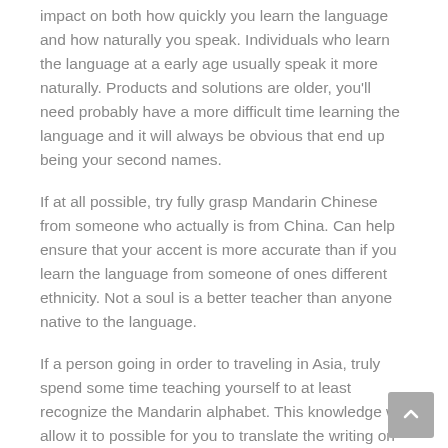impact on both how quickly you learn the language and how naturally you speak. Individuals who learn the language at a early age usually speak it more naturally. Products and solutions are older, you'll need probably have a more difficult time learning the language and it will always be obvious that end up being your second names.
If at all possible, try fully grasp Mandarin Chinese from someone who actually is from China. Can help ensure that your accent is more accurate than if you learn the language from someone of ones different ethnicity. Not a soul is a better teacher than anyone native to the language.
If a person going in order to traveling in Asia, truly spend some time teaching yourself to at least recognize the Mandarin alphabet. This knowledge will allow it to possible for you to translate the writing on signs and could save you a reliable deal of embarrassment.